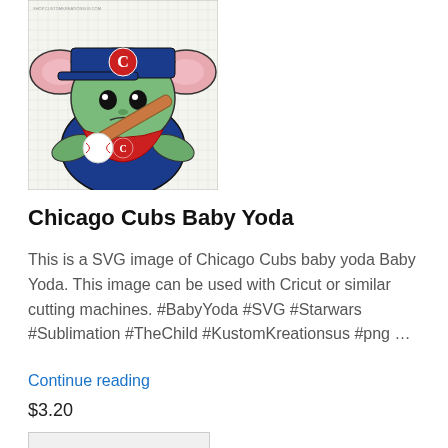[Figure (illustration): Baby Yoda wearing a Chicago Cubs baseball cap and holding a baseball bat, illustrated in cartoon style with a grid/graph paper background]
Chicago Cubs Baby Yoda
This is a SVG image of Chicago Cubs baby yoda Baby Yoda. This image can be used with Cricut or similar cutting machines. #BabyYoda #SVG #Starwars #Sublimation #TheChild #KustomKreationsus #png …
Continue reading
$3.20
Purchase